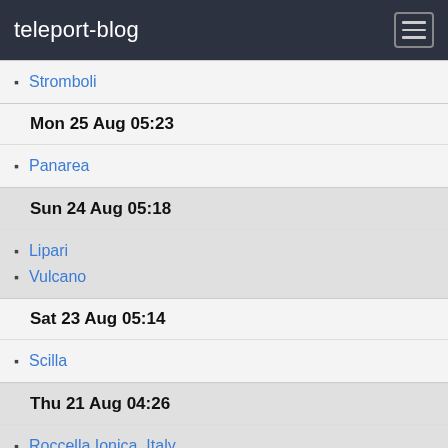teleport-blog
Stromboli
Mon 25 Aug 05:23
Panarea
Sun 24 Aug 05:18
Lipari
Vulcano
Sat 23 Aug 05:14
Scilla
Thu 21 Aug 04:26
Roccella Ionica, Italy
Thu 14 Aug 04:12
Argostoli, Cephalonia
Tue 12 Aug 04:11
Kato Katelios
Mon 11 Aug 04:09
Oxia